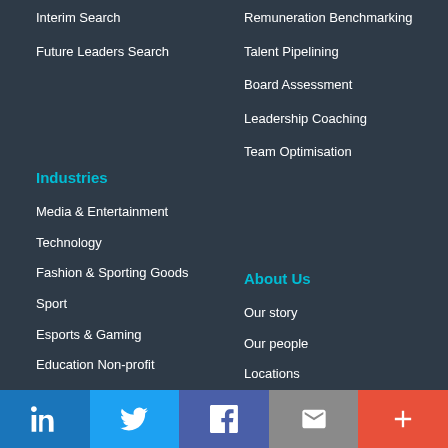Interim Search
Future Leaders Search
Remuneration Benchmarking
Talent Pipelining
Board Assessment
Leadership Coaching
Team Optimisation
Industries
Media & Entertainment
Technology
Fashion & Sporting Goods
Sport
Esports & Gaming
Education Non-profit
About Us
Our story
Our people
Locations
Inclusion
Careers